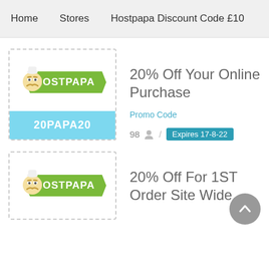Home   Stores   Hostpapa Discount Code £10
[Figure (logo): Hostpapa logo with green banner and cartoon character]
20% Off Your Online Purchase
Promo Code
98 / Expires 17-8-22
20PAPA20
[Figure (logo): Hostpapa logo with green banner and cartoon character]
20% Off For 1ST Order Site Wide